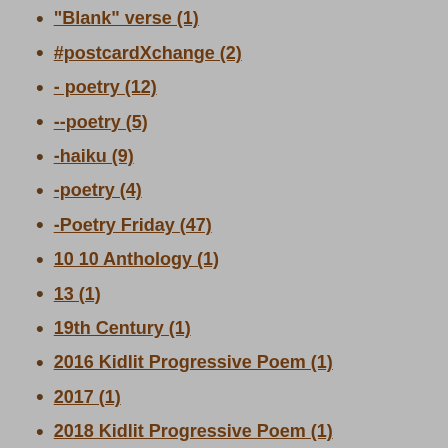"Blank" verse (1)
#postcardXchange (2)
- poetry (12)
--poetry (5)
-haiku (9)
-poetry (4)
-Poetry Friday (47)
10 10 Anthology (1)
13 (1)
19th Century (1)
2016 Kidlit Progressive Poem (1)
2017 (1)
2018 Kidlit Progressive Poem (1)
2019 Kidlit Progressive Poem (1)
2021 Kidlit Progressive Poem (1)
2022 Kidlit Progressive Poem (1)